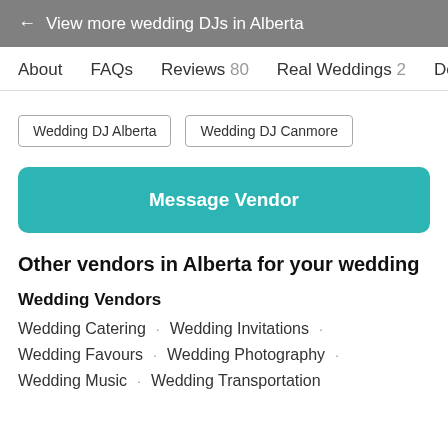← View more wedding DJs in Alberta
About   FAQs   Reviews 80   Real Weddings 2   Deals 1
Wedding DJ Alberta
Wedding DJ Canmore
Message Vendor
Other vendors in Alberta for your wedding
Wedding Vendors
Wedding Catering · Wedding Invitations ·
Wedding Favours · Wedding Photography ·
Wedding Music · Wedding Transportation